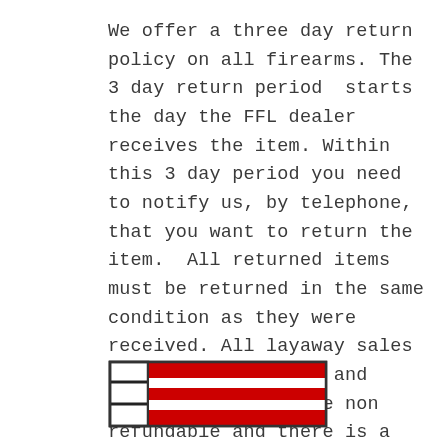We offer a three day return policy on all firearms. The 3 day return period starts the day the FFL dealer receives the item. Within this 3 day period you need to notify us, by telephone, that you want to return the item. All returned items must be returned in the same condition as they were received. All layaway sales are final. Shipping and credit card fees are non refundable and there is a 10% restocking charge.
[Figure (logo): A small logo icon showing a book/document with red horizontal stripes on the right portion, resembling a stylized flag or form icon.]